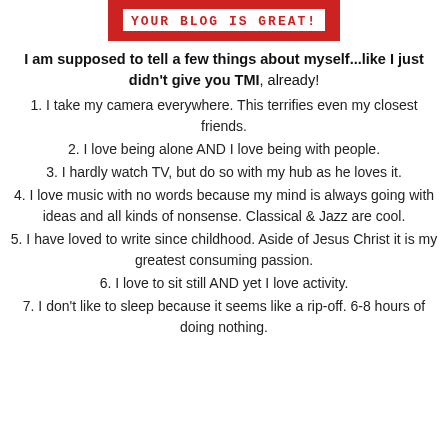[Figure (illustration): Red badge/label graphic with text 'YOUR BLOG IS GREAT!' in stamped style lettering on white background with red border]
I am supposed to tell a few things about myself...like I just didn't give you TMI, already!
1. I take my camera everywhere. This terrifies even my closest friends.
2. I love being alone AND I love being with people.
3. I hardly watch TV, but do so with my hub as he loves it.
4. I love music with no words because my mind is always going with ideas and all kinds of nonsense. Classical & Jazz are cool.
5. I have loved to write since childhood. Aside of Jesus Christ it is my greatest consuming passion.
6. I love to sit still AND yet I love activity.
7. I don't like to sleep because it seems like a rip-off. 6-8 hours of doing nothing.